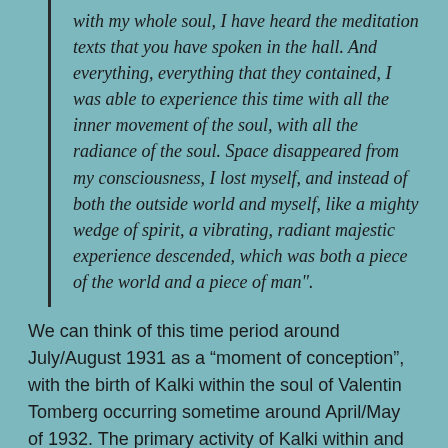with my whole soul, I have heard the meditation texts that you have spoken in the hall. And everything, everything that they contained, I was able to experience this time with all the inner movement of the soul, with all the radiance of the soul. Space disappeared from my consciousness, I lost myself, and instead of both the outside world and myself, like a mighty wedge of spirit, a vibrating, radiant majestic experience descended, which was both a piece of the world and a piece of man".
We can think of this time period around July/August 1931 as a “moment of conception”, with the birth of Kalki within the soul of Valentin Tomberg occurring sometime around April/May of 1932. The primary activity of Kalki within and through Tomberg (we